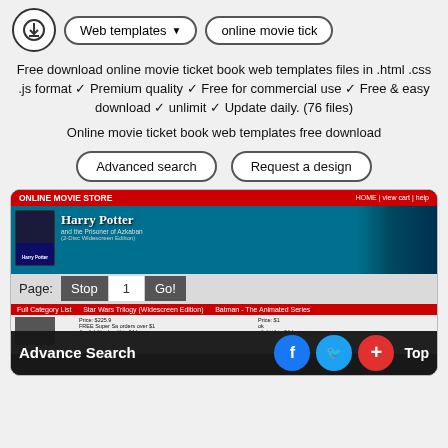[Figure (screenshot): Top navigation bar with download icon, 'Web templates' dropdown button, and 'online movie tick' pill button]
Free download online movie ticket book web templates files in .html .css .js format ✓ Premium quality ✓ Free for commercial use ✓ Free & easy download ✓ unlimit ✓ Update daily. (76 files)
Online movie ticket book web templates free download
Advanced search
Request a design
[Figure (screenshot): Screenshot of an Online Movie Store website featuring Harry Potter and the Prisoner of Azkaban (2-Disc Widescreen Edition), with a red header bar, teal banner, pagination controls (Page: Stop 1 Go!), and movie listings below]
Advance Search
Top